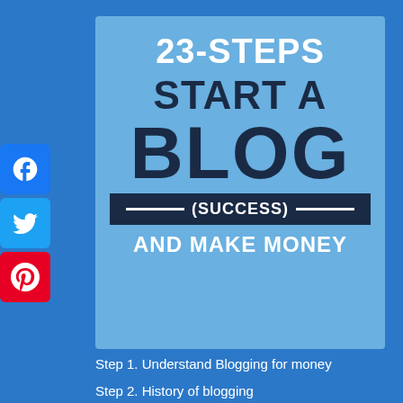[Figure (infographic): Book cover style infographic on blue background with title '23-STEPS START A BLOG (SUCCESS) AND MAKE MONEY' in a lighter blue card, with Facebook, Twitter, and Pinterest social share icons on the left side.]
Step 1. Understand Blogging for money
Step 2. History of blogging